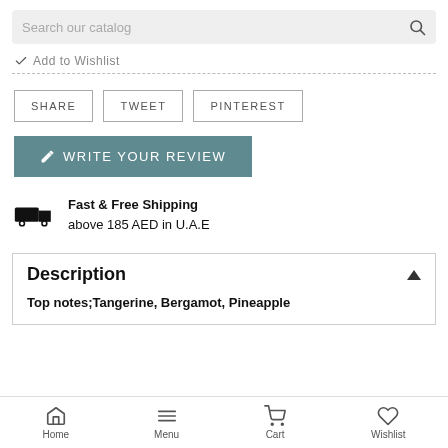[Figure (screenshot): Search bar with placeholder text 'Search our catalog' and a magnifying glass icon on gray background]
Add to Wishlist
SHARE   TWEET   PINTEREST
WRITE YOUR REVIEW
Fast & Free Shipping above 185 AED in U.A.E
Description
Top notes;Tangerine, Bergamot, Pineapple
Home   Menu   Cart   Wishlist